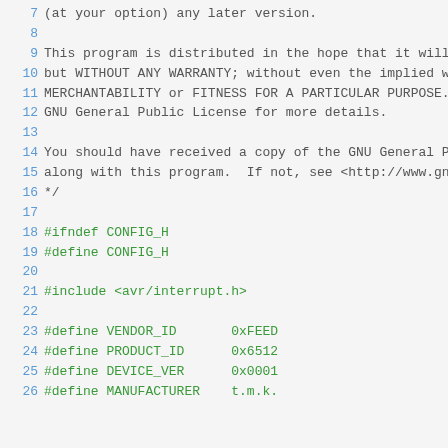Source code listing showing lines 7-26 of a C header file with GNU GPL license comment and preprocessor directives
7  (at your option) any later version.
8
9  This program is distributed in the hope that it will be useful,
10 but WITHOUT ANY WARRANTY; without even the implied warranty of
11 MERCHANTABILITY or FITNESS FOR A PARTICULAR PURPOSE.  See the
12 GNU General Public License for more details.
13
14 You should have received a copy of the GNU General Public License
15 along with this program.  If not, see <http://www.gnu.org/licenses/>.
16 */
17
18 #ifndef CONFIG_H
19 #define CONFIG_H
20
21 #include <avr/interrupt.h>
22
23 #define VENDOR_ID       0xFEED
24 #define PRODUCT_ID      0x6512
25 #define DEVICE_VER      0x0001
26 #define MANUFACTURER    t.m.k.